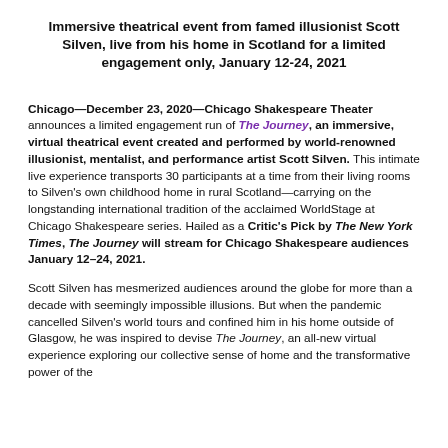Immersive theatrical event from famed illusionist Scott Silven, live from his home in Scotland for a limited engagement only, January 12-24, 2021
Chicago—December 23, 2020—Chicago Shakespeare Theater announces a limited engagement run of The Journey, an immersive, virtual theatrical event created and performed by world-renowned illusionist, mentalist, and performance artist Scott Silven. This intimate live experience transports 30 participants at a time from their living rooms to Silven's own childhood home in rural Scotland—carrying on the longstanding international tradition of the acclaimed WorldStage at Chicago Shakespeare series. Hailed as a Critic's Pick by The New York Times, The Journey will stream for Chicago Shakespeare audiences January 12–24, 2021.
Scott Silven has mesmerized audiences around the globe for more than a decade with seemingly impossible illusions. But when the pandemic cancelled Silven's world tours and confined him in his home outside of Glasgow, he was inspired to devise The Journey, an all-new virtual experience exploring our collective sense of home and the transformative power of the...